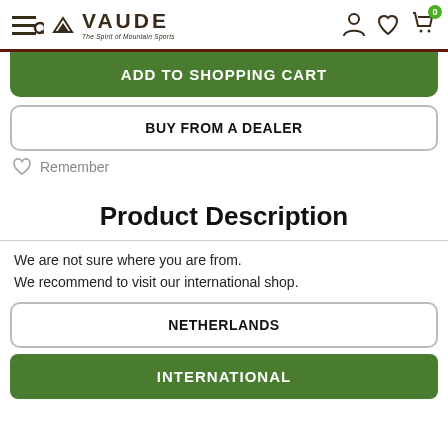VAUDE - The Spirit of Mountain Sports
ADD TO SHOPPING CART
BUY FROM A DEALER
Remember
Product Description
We are not sure where you are from. We recommend to visit our international shop.
NETHERLANDS
INTERNATIONAL